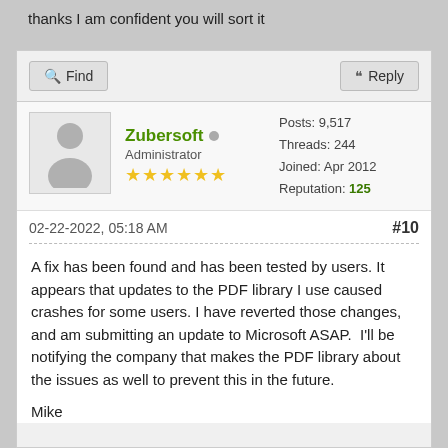thanks I am confident you will sort it
Find   Reply
Zubersoft  Administrator  ★★★★★★  Posts: 9,517  Threads: 244  Joined: Apr 2012  Reputation: 125
02-22-2022, 05:18 AM   #10
A fix has been found and has been tested by users. It appears that updates to the PDF library I use caused crashes for some users. I have reverted those changes, and am submitting an update to Microsoft ASAP.  I'll be notifying the company that makes the PDF library about the issues as well to prevent this in the future.
Mike